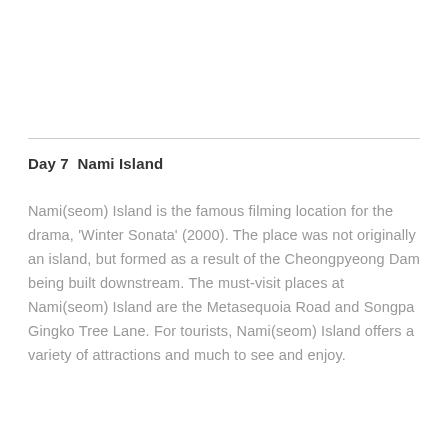Day 7  Nami Island
Nami(seom) Island is the famous filming location for the drama, 'Winter Sonata' (2000). The place was not originally an island, but formed as a result of the Cheongpyeong Dam being built downstream. The must-visit places at Nami(seom) Island are the Metasequoia Road and Songpa Gingko Tree Lane. For tourists, Nami(seom) Island offers a variety of attractions and much to see and enjoy.